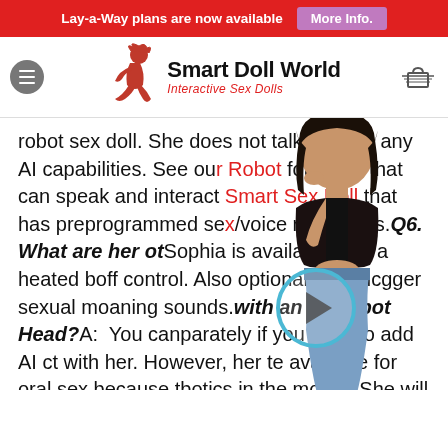Lay-a-Way plans are now available  More Info.
Smart Doll World — Interactive Sex Dolls
robot sex doll. She does not talk or have any AI capabilities. See our Robot for a doll that can speak and interact Smart Sex Doll that has preprogrammed sexual/voice responses. Q6. What are her other options? Sophia is available with a heated body on/off control. Also optional (3) touch sensors that trigger sexual moaning sounds. Q7. Can she come with an AI Robot Head? A: You can purchase it separately if you want to add AI capability with her. However, her head will not be available for oral sex because the head has robotics in the mouth. She will still have awesome thrusting movements when fucking her vagina or anus. A special adapter
[Figure (photo): Woman posing thoughtfully with hand on chin, wearing black crop top and light blue jeans, overlaid on text content. Video play button circle visible.]